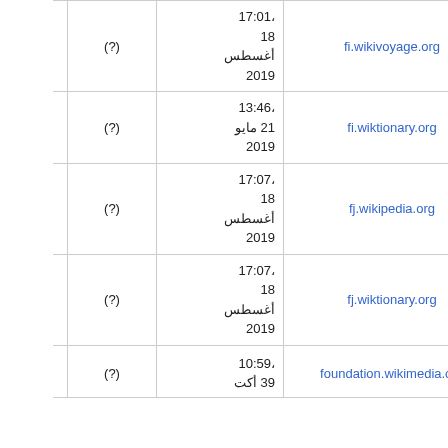| الموقع | التاريخ | ؟ | — |
| --- | --- | --- | --- |
| fi.wikivoyage.org | 17:01،
18
أغسطس
2019 | (?) | — |
| fi.wiktionary.org | 13:46،
21 مايو
2019 | (?) | — |
| fj.wikipedia.org | 17:07،
18
أغسطس
2019 | (?) | — |
| fj.wiktionary.org | 17:07،
18
أغسطس
2019 | (?) | — |
| foundation.wikimedia.org | 10:59،
39 أكت... | (?) | — |